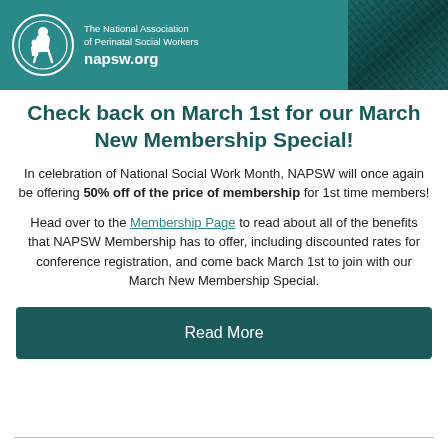[Figure (logo): NAPSW header banner with circular logo, organization name 'The National Association of Perinatal Social Workers', URL 'napsw.org', and a dark teal textured photo on the right]
Check back on March 1st for our March New Membership Special!
In celebration of National Social Work Month, NAPSW will once again be offering 50% off of the price of membership for 1st time members!
Head over to the Membership Page to read about all of the benefits that NAPSW Membership has to offer, including discounted rates for conference registration, and come back March 1st to join with our March New Membership Special.
Read More